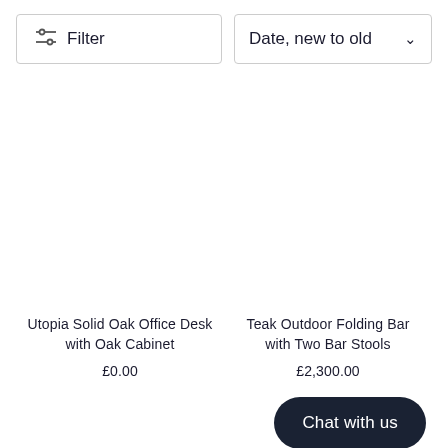Filter
Date, new to old
Utopia Solid Oak Office Desk with Oak Cabinet
£0.00
Teak Outdoor Folding Bar with Two Bar Stools
£2,300.00
Chat with us